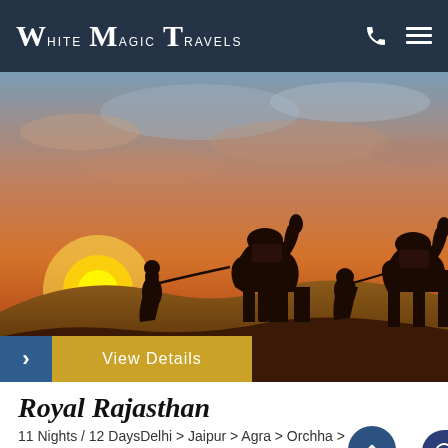White Magic Travels
[Figure (photo): Silhouette of two camel handlers walking their camels across a sand dune at sunset with dramatic orange and golden sky]
Royal Rajasthan
11 Nights / 12 Days Delhi > Jaipur > Agra > Orchha > Khajuraho > Allahabad > Varanasi